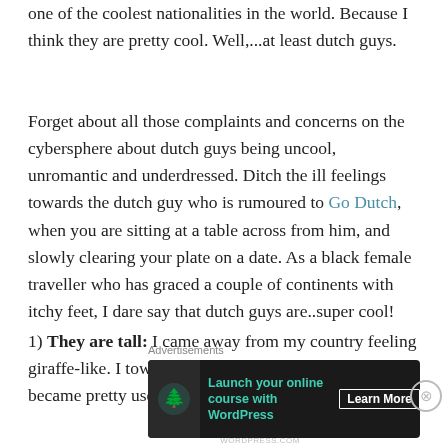one of the coolest nationalities in the world. Because I think they are pretty cool. Well,...at least dutch guys.
Forget about all those complaints and concerns on the cybersphere about dutch guys being uncool, unromantic and underdressed. Ditch the ill feelings towards the dutch guy who is rumoured to Go Dutch, when you are sitting at a table across from him, and slowly clearing your plate on a date. As a black female traveller who has graced a couple of continents with itchy feet, I dare say that dutch guys are..super cool!
1) They are tall: I came away from my country feeling giraffe-like. I towered over a heck of alot of people and became pretty used to jabs about my height like,
Advertisements
[Figure (other): Advertisement banner: Launch your online course with WordPress. Learn More button. Dark background with teal text and tree icon.]